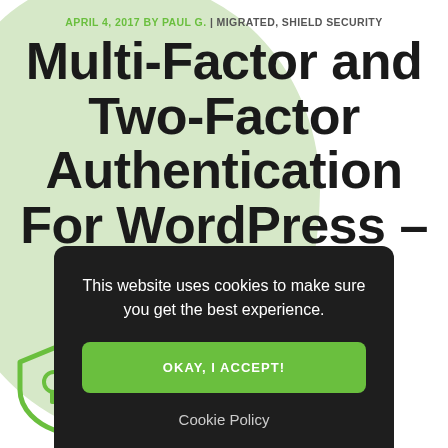APRIL 4, 2017 BY PAUL G. | MIGRATED, SHIELD SECURITY
Multi-Factor and Two-Factor Authentication For WordPress – Shield
This website uses cookies to make sure you get the best experience.
OKAY, I ACCEPT!
Cookie Policy
[Figure (logo): Shield Security logo: green shield outline with keyhole icon, and 'Shieldsecurity' watermark text]